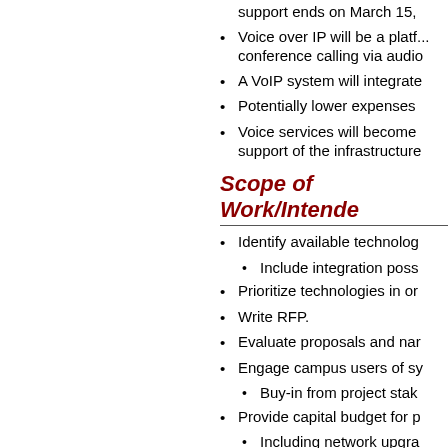support ends on March 15,
Voice over IP will be a platform for conference calling via audio
A VoIP system will integrate
Potentially lower expenses
Voice services will become support of the infrastructure
Scope of Work/Intende
Identify available technologies
Include integration possibilities
Prioritize technologies in order
Write RFP.
Evaluate proposals and narrow
Engage campus users of systems
Buy-in from project stakeholders
Provide capital budget for projects
Including network upgrades